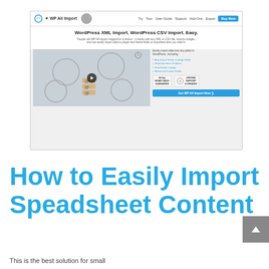[Figure (screenshot): Screenshot of WP All Import website showing the homepage with navigation bar (Try, Tour, User Guide, Support, Add-Ons, Export, Buy Now), hero headline 'WordPress XML Import. WordPress CSV Import. Easy.', a video thumbnail showing animated import workflow, and a right panel with feature bullet points (Any of your theme or plugin fields, WooCommerce Products, Real Estate Listings, Advanced Custom Fields), 30 Day Money Back Guarantee badge, Lifetime Support & Updates badge, and a 'Get WP All Import Now' call-to-action button.]
How to Easily Import Speadsheet Content
This is the best solution for small